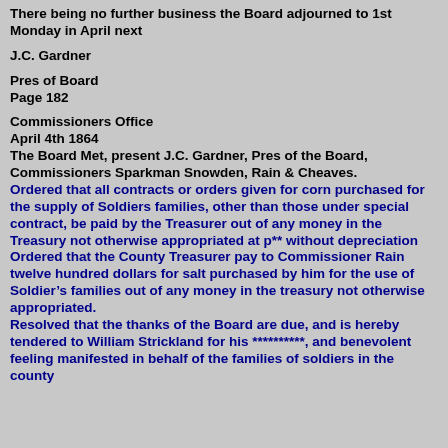There being no further business the Board adjourned to 1st Monday in April next
J.C. Gardner
Pres of Board
Page 182
Commissioners Office
April 4th 1864
The Board Met, present J.C. Gardner, Pres of the Board, Commissioners Sparkman Snowden, Rain & Cheaves.
Ordered that all contracts or orders given for corn purchased for the supply of Soldiers families, other than those under special contract, be paid by the Treasurer out of any money in the Treasury not otherwise appropriated at p** without depreciation
Ordered that the County Treasurer pay to Commissioner Rain twelve hundred dollars for salt purchased by him for the use of Soldier’s families out of any money in the treasury not otherwise appropriated.
Resolved that the thanks of the Board are due, and is hereby tendered to William Strickland for his **********, and benevolent feeling manifested in behalf of the families of soldiers in the county